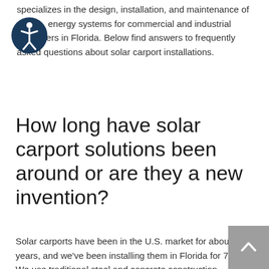specializes in the design, installation, and maintenance of energy systems for commercial and industrial customers in Florida. Below find answers to frequently asked questions about solar carport installations.
How long have solar carport solutions been around or are they a new invention?
Solar carports have been in the U.S. market for about 10 years, and we've been installing them in Florida for 7 years. We use traditional steel and concrete construction techniques, integrated with our solar design knowledge.
The solar carport market is growing fast in Florida because there's a convergence of factors that make for solid ROI. It's a timing issue – as the cost of utility power continues rising,